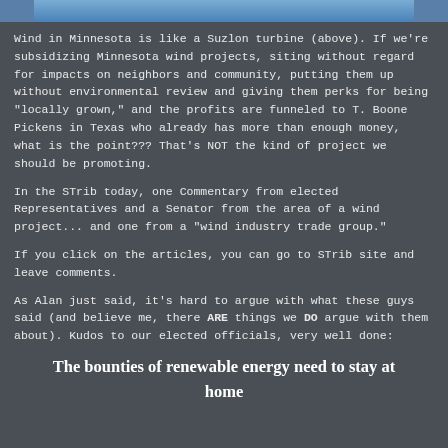[Figure (photo): Partial image of a Suzlon wind turbine at the top of the page]
Wind in Minnesota is like a Suzlon turbine (above).  If we're subsidizing Minnesota wind projects, siting without regard for impacts on neighbors and community, putting them up without environmental review and giving them perks for being "locally grown," and the profits are funneled to T. Boone Pickens in Texas who already has more than enough money, what is the point???  That's NOT the kind of project we should be promoting.
In the STrib today, one Commentary from elected Representatives and a Senator from the area of a wind project... and one from a "wind industry trade group."
If you click on the articles, you can go to STrib site and leave comments.
As Alan just said, it's hard to argue with what these guys said (and believe me, there ARE things we DO argue with them about).  Kudos to our elected officials, very well done:
The bounties of renewable energy need to stay at home